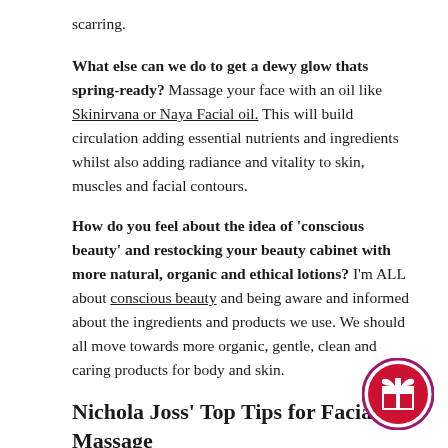scarring.
What else can we do to get a dewy glow thats spring-ready? Massage your face with an oil like Skinirvana or Naya Facial oil. This will build circulation adding essential nutrients and ingredients whilst also adding radiance and vitality to skin, muscles and facial contours.
How do you feel about the idea of 'conscious beauty' and restocking your beauty cabinet with more natural, organic and ethical lotions? I'm ALL about conscious beauty and being aware and informed about the ingredients and products we use. We should all move towards more organic, gentle, clean and caring products for body and skin.
Nichola Joss' Top Tips for Facial Massage
Begin by washing your hands and then follow these steps.